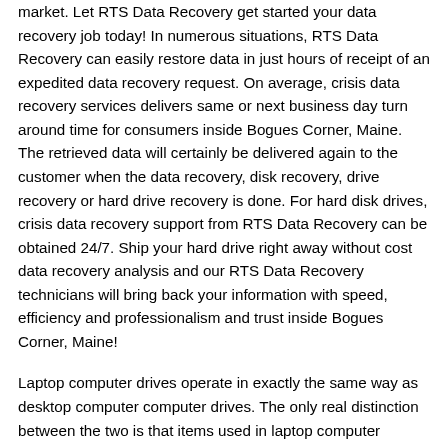market. Let RTS Data Recovery get started your data recovery job today! In numerous situations, RTS Data Recovery can easily restore data in just hours of receipt of an expedited data recovery request. On average, crisis data recovery services delivers same or next business day turn around time for consumers inside Bogues Corner, Maine. The retrieved data will certainly be delivered again to the customer when the data recovery, disk recovery, drive recovery or hard drive recovery is done. For hard disk drives, crisis data recovery support from RTS Data Recovery can be obtained 24/7. Ship your hard drive right away without cost data recovery analysis and our RTS Data Recovery technicians will bring back your information with speed, efficiency and professionalism and trust inside Bogues Corner, Maine!
Laptop computer drives operate in exactly the same way as desktop computer computer drives. The only real distinction between the two is that items used in laptop computer computer